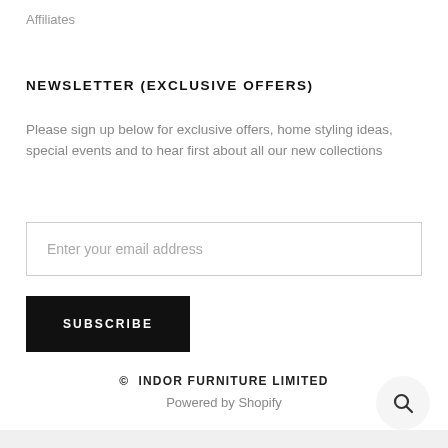Affiliates
NEWSLETTER (EXCLUSIVE OFFERS)
Please sign up below for exclusive offers, home styling ideas, special events and to hear first about all our new collections
Enter your email address
SUBSCRIBE
© INDOR FURNITURE LIMITED
Powered by Shopify